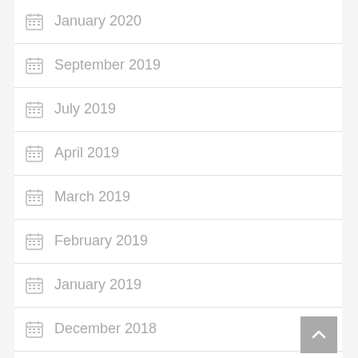January 2020
September 2019
July 2019
April 2019
March 2019
February 2019
January 2019
December 2018
November 2018
October 2018
September 2018
August 2018